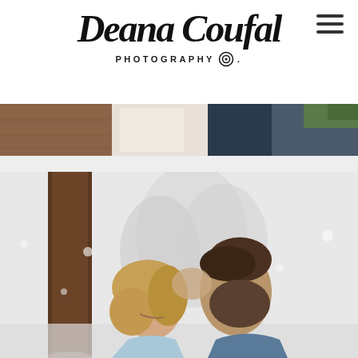Deana Coufal Photography Co.
[Figure (photo): Top strip photo showing a wedding scene with a bride in white dress and groom in blue, rustic wooden interior with pine branches]
[Figure (photo): Main photo of a couple in a romantic winter outdoor setting with snow-covered pine trees in background. A woman with wavy blonde hair and a bearded man lean their heads together intimately.]